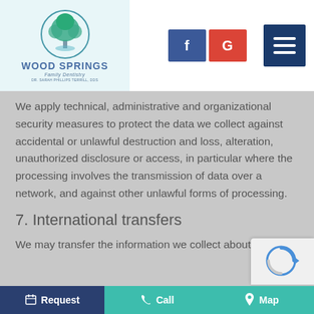[Figure (logo): WoodSprings Family Dentistry logo with tree in circle, teal/blue colors, tagline 'Dr. Sarah Phillips Terrill, DDS']
[Figure (infographic): Facebook 'f' button (blue) and Google 'G' button (red) social media icons, plus dark blue hamburger menu icon]
We apply technical, administrative and organizational security measures to protect the data we collect against accidental or unlawful destruction and loss, alteration, unauthorized disclosure or access, in particular where the processing involves the transmission of data over a network, and against other unlawful forms of processing.
7. International transfers
We may transfer the information we collect about
Request   Call   Map